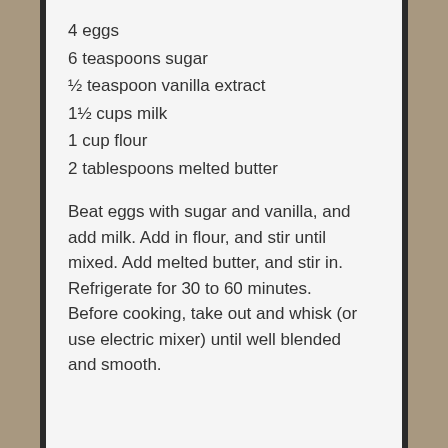4 eggs
6 teaspoons sugar
½ teaspoon vanilla extract
1½ cups milk
1 cup flour
2 tablespoons melted butter
Beat eggs with sugar and vanilla, and add milk. Add in flour, and stir until mixed. Add melted butter, and stir in. Refrigerate for 30 to 60 minutes. Before cooking, take out and whisk (or use electric mixer) until well blended and smooth.